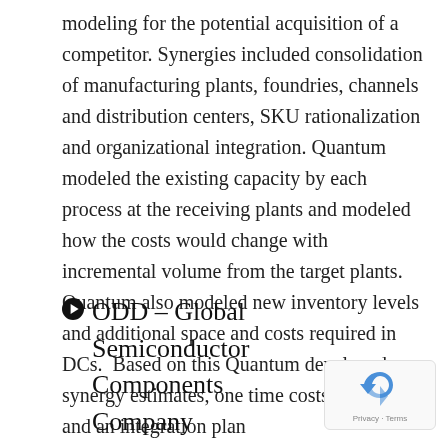modeling for the potential acquisition of a competitor. Synergies included consolidation of manufacturing plants, foundries, channels and distribution centers, SKU rationalization and organizational integration. Quantum modeled the existing capacity by each process at the receiving plants and modeled how the costs would change with incremental volume from the target plants. Quantum also modeled new inventory levels and additional space and costs required in DCs.  Based on this Quantum developed synergy estimates, one time costs estimates and an integration plan
ODD – Global Semiconductor Components Company